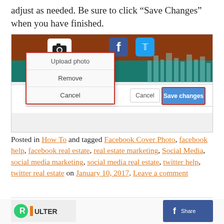adjust as needed. Be sure to click “Save Changes” when you have finished.
[Figure (screenshot): Screenshot of a Facebook page editing interface showing an 'Upload photo' dropdown menu with options: Upload photo, Remove, Cancel. A red border highlights 'Upload photo'. On the right side, a 'Save changes' button (blue, with red border highlight) and a 'Cancel' button are visible. The background shows a social media cover photo with camera, Facebook, and Twitter icons on a dark red/teal background.]
Posted in How To and tagged Facebook Cover Photo, facebook help, facebook real estate, real estate marketing, Social Media, social media marketing, social media real estate, twitter help, twitter real estate on January 10, 2017. Leave a comment